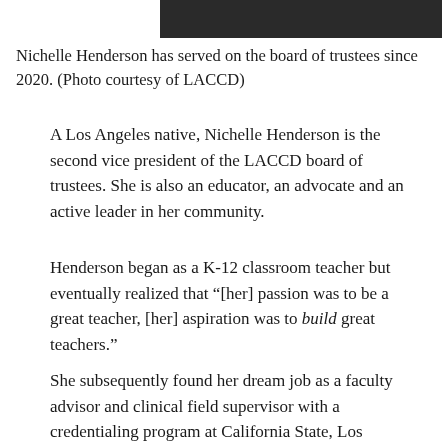[Figure (photo): Cropped photo of Nichelle Henderson, partially visible at top of page]
Nichelle Henderson has served on the board of trustees since 2020. (Photo courtesy of LACCD)
A Los Angeles native, Nichelle Henderson is the second vice president of the LACCD board of trustees. She is also an educator, an advocate and an active leader in her community.
Henderson began as a K-12 classroom teacher but eventually realized that “[her] passion was to be a great teacher, [her] aspiration was to build great teachers.”
She subsequently found her dream job as a faculty advisor and clinical field supervisor with a credentialing program at California State, Los Angeles.